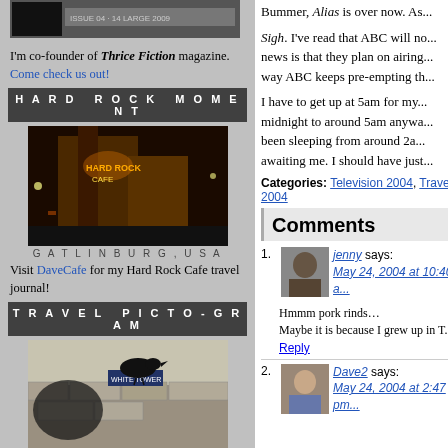[Figure (photo): Top strip image of a magazine or publication thumbnail]
I'm co-founder of Thrice Fiction magazine. Come check us out!
HARD ROCK MOMENT
[Figure (photo): Night photo of Hard Rock Cafe in Gatlinburg, USA]
GATLINBURG, USA
Visit DaveCafe for my Hard Rock Cafe travel journal!
TRAVEL PICTO-GRAM
[Figure (photo): Photo of a bird (crow/raven) in London, England]
LONDON, ENGLAND
Visit my travel map to see where I have been in this world!
BADGEMANIA
[Figure (logo): Blogography.com! logo badge]
ENTRIES FEED
Bummer, Alias is over now. As...
Sigh. I've read that ABC will no... news is that they plan on airing... way ABC keeps pre-empting th...
I have to get up at 5am for my... midnight to around 5am anywa... been sleeping from around 2a... awaiting me. I should have just...
Categories: Television 2004, Travel 2004
Comments
jenny says: May 24, 2004 at 10:40 am
Hmmm pork rinds… Maybe it is because I grew up in T...
Reply
Dave2 says: May 24, 2004 at 2:47 pm